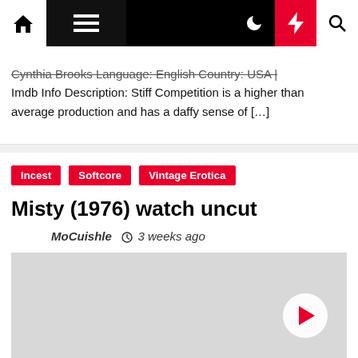Navigation bar with home, menu, dark mode, bolt, and search icons
Cynthia Brooks Language: English Country: USA | Imdb Info Description: Stiff Competition is a higher than average production and has a daffy sense of […]
Incest
Softcore
Vintage Erotica
Misty (1976) watch uncut
MoCuishle  3 weeks ago
[Figure (other): Video thumbnail placeholder with play button]